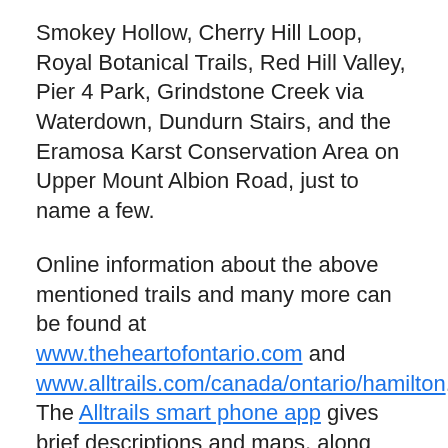Smokey Hollow, Cherry Hill Loop, Royal Botanical Trails, Red Hill Valley, Pier 4 Park, Grindstone Creek via Waterdown, Dundurn Stairs, and the Eramosa Karst Conservation Area on Upper Mount Albion Road, just to name a few.
Online information about the above mentioned trails and many more can be found at www.theheartofontario.com and www.alltrails.com/canada/ontario/hamilton. The Alltrails smart phone app gives brief descriptions and maps, along with directions to dozens of walking and hiking trails in the Hamilton area. The Heart of Ontario web site includes trails not only in the Hamilton region but also Brant and Halton counties, the Niagara Escarpment, Grand River and the Bruce Trail, as well as biking trails and boat...